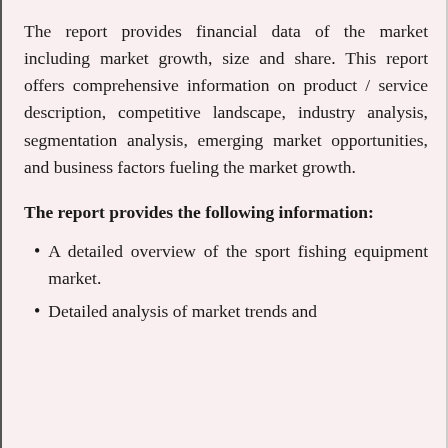The report provides financial data of the market including market growth, size and share. This report offers comprehensive information on product / service description, competitive landscape, industry analysis, segmentation analysis, emerging market opportunities, and business factors fueling the market growth.
The report provides the following information:
A detailed overview of the sport fishing equipment market.
Detailed analysis of market trends and